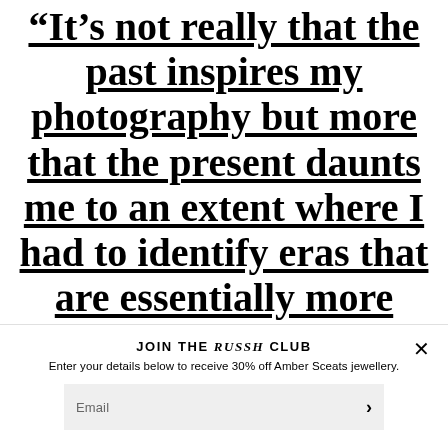“It’s not really that the past inspires my photography but more that the present daunts me to an extent where I had to identify eras that are essentially more appealing to me.”
JOIN THE RUSSH CLUB
Enter your details below to receive 30% off Amber Sceats jewellery.
Email >